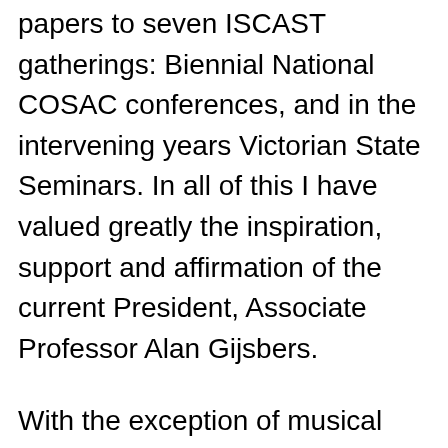papers to seven ISCAST gatherings: Biennial National COSAC conferences, and in the intervening years Victorian State Seminars. In all of this I have valued greatly the inspiration, support and affirmation of the current President, Associate Professor Alan Gijsbers.
With the exception of musical acoustics, which I had taught in an early lecturing career as musicologist, the scientific mindset, with its stress on the measurable, was to me a novel environment. For forty years long, with almost zero science taught in my 1950s English grammar schooling, I had addressed myself strictly to Humanities disciplines. ISCAST gave it the t...